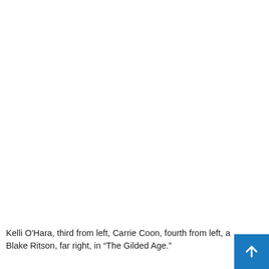[Figure (photo): A photograph (mostly white/blank area in this crop) showing people from a TV scene, largely cropped out of view.]
Kelli O'Hara, third from left, Carrie Coon, fourth from left, a Blake Ritson, far right, in “The Gilded Age.”